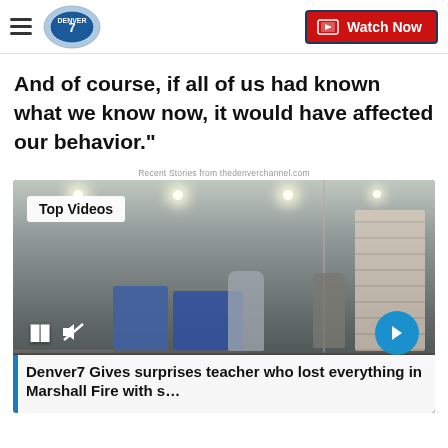Denver7 - Watch Now
And of course, if all of us had known what we know now, it would have affected our behavior."
Recent Stories from thedenverchannel.com
[Figure (photo): Video player showing people shopping in a big box store with carts full of bedding/supplies. Shows 'Top Videos' badge, play/pause controls, mute icon, and a blue next arrow button. Bottom caption bar: 'Denver7 Gives surprises teacher who lost everything in Marshall Fire with s...']
Denver7 Gives surprises teacher who lost everything in Marshall Fire with s…